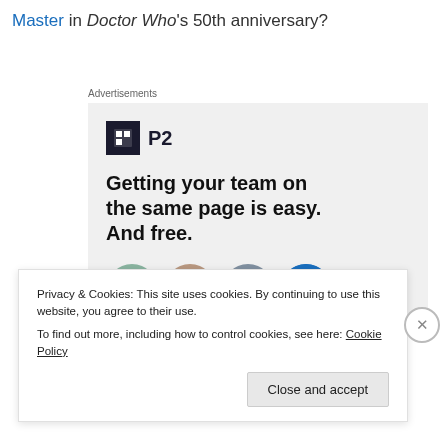Master in Doctor Who's 50th anniversary?
Advertisements
[Figure (other): Advertisement for P2 product showing logo, headline 'Getting your team on the same page is easy. And free.' and user avatars]
Privacy & Cookies: This site uses cookies. By continuing to use this website, you agree to their use.
To find out more, including how to control cookies, see here: Cookie Policy
Close and accept